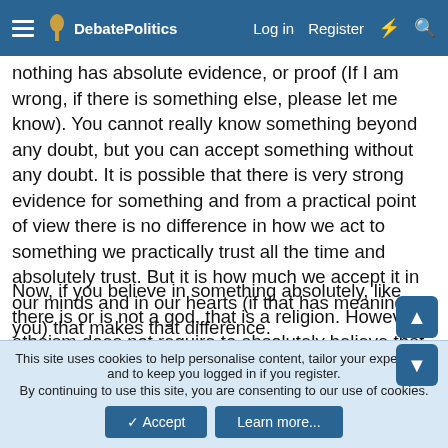DebatePolitics | Log in | Register
nothing has absolute evidence, or proof (If I am wrong, if there is something else, please let me know). You cannot really know something beyond any doubt, but you can accept something without any doubt. It is possible that there is very strong evidence for something and from a practical point of view there is no difference in how we act to something we practically trust all the time and absolutely trust. But it is how much we accept it in our minds and in our hearts (if that has meaning to you) that makes that difference.
Now, if you believe in something absolutely, like there is or is not a god, that is a religion. However, atheism does not require to absolutely believe that there is no god. Heck, I wonder if atheism should be defined as 'not having any faith' as opposed to 'there is no god.'
This site uses cookies to help personalise content, tailor your experience and to keep you logged in if you register. By continuing to use this site, you are consenting to our use of cookies.